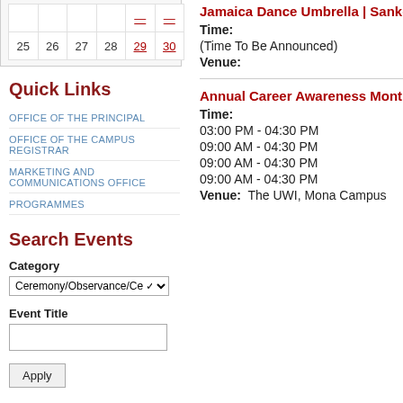| 25 | 26 | 27 | 28 | 29 | 30 |
Quick Links
OFFICE OF THE PRINCIPAL
OFFICE OF THE CAMPUS REGISTRAR
MARKETING AND COMMUNICATIONS OFFICE
PROGRAMMES
Search Events
Category
Ceremony/Observance/Ce
Event Title
Apply
Jamaica Dance Umbrella | Sankofa E
Time:
(Time To Be Announced)
Venue:
Annual Career Awareness Month 202
Time:
03:00 PM - 04:30 PM
09:00 AM - 04:30 PM
09:00 AM - 04:30 PM
09:00 AM - 04:30 PM
Venue:  The UWI, Mona Campus